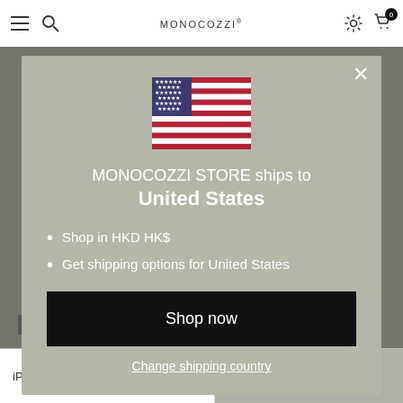MONOCOZZI
[Figure (screenshot): US flag icon in modal dialog]
MONOCOZZI STORE ships to United States
Shop in HKD HK$
Get shipping options for United States
Shop now
Change shipping country
iPhone 11 Pro - H... | ADD TO CART